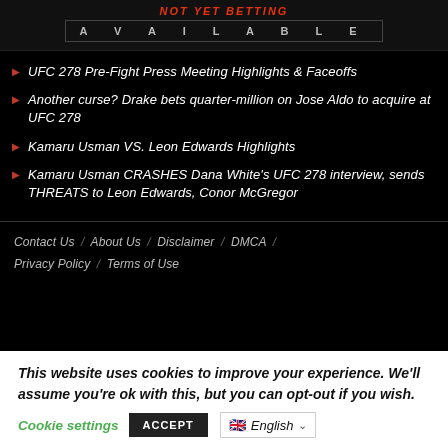NOT YET BETTING AVAILABLE
UFC 278 Pre-Fight Press Meeting Highlights & Faceoffs
Another curse? Drake bets quarter-million on Jose Aldo to acquire at UFC 278
Kamaru Usman VS. Leon Edwards Highlights
Kamaru Usman CRASHES Dana White's UFC 278 interview, sends THREATS to Leon Edwards, Conor McGregor
Contact Us / About Us / Disclaimer / DMCA / Privacy Policy / Terms of Use
This website uses cookies to improve your experience. We'll assume you're ok with this, but you can opt-out if you wish. Cookie settings ACCEPT English